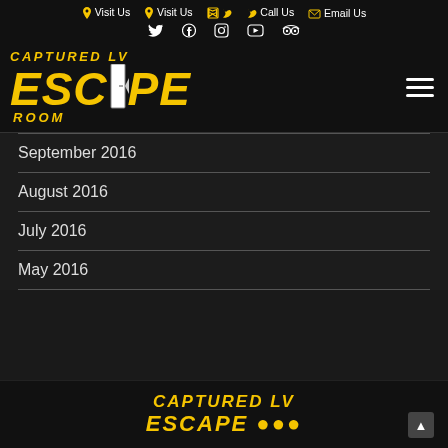Visit Us  Visit Us  Call Us  Email Us
[Figure (logo): Captured LV Escape Room logo in yellow on black background]
September 2016
August 2016
July 2016
May 2016
CAPTURED LV ESCAPE ROOM footer logo